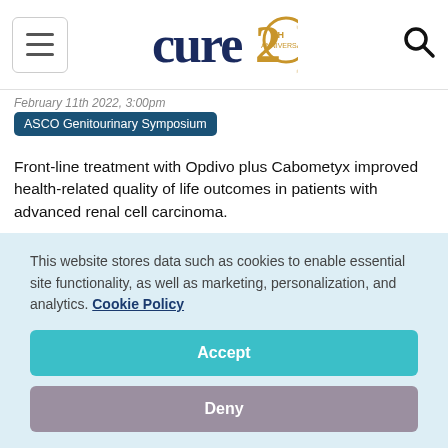cure 20th Anniversary
February 11th 2022, 3:00pm
ASCO Genitourinary Symposium
Front-line treatment with Opdivo plus Cabometyx improved health-related quality of life outcomes in patients with advanced renal cell carcinoma.
[Figure (photo): Doctor or medical professional wearing a white coat and blue surgical mask, shown from shoulders up]
This website stores data such as cookies to enable essential site functionality, as well as marketing, personalization, and analytics. Cookie Policy
Accept
Deny